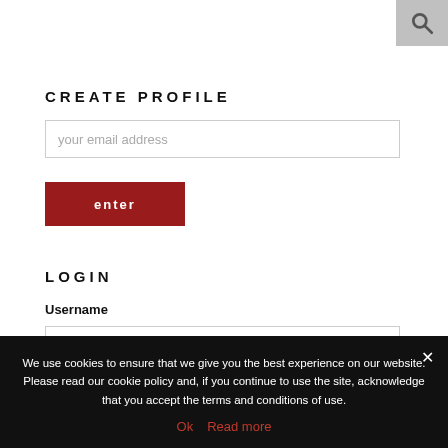[Figure (other): Search icon button in top-right corner]
CREATE PROFILE
your email address
enter
LOGIN
Username
We use cookies to ensure that we give you the best experience on our website. Please read our cookie policy and, if you continue to use the site, acknowledge that you accept the terms and conditions of use.
Ok   Read more